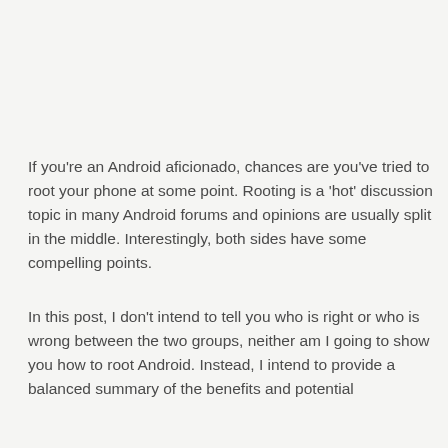If you're an Android aficionado, chances are you've tried to root your phone at some point. Rooting is a 'hot' discussion topic in many Android forums and opinions are usually split in the middle. Interestingly, both sides have some compelling points.
In this post, I don't intend to tell you who is right or who is wrong between the two groups, neither am I going to show you how to root Android. Instead, I intend to provide a balanced summary of the benefits and potential